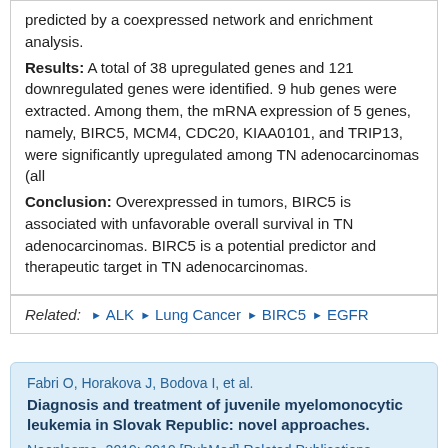predicted by a coexpressed network and enrichment analysis. Results: A total of 38 upregulated genes and 121 downregulated genes were identified. 9 hub genes were extracted. Among them, the mRNA expression of 5 genes, namely, BIRC5, MCM4, CDC20, KIAA0101, and TRIP13, were significantly upregulated among TN adenocarcinomas (all Conclusion: Overexpressed in tumors, BIRC5 is associated with unfavorable overall survival in TN adenocarcinomas. BIRC5 is a potential predictor and therapeutic target in TN adenocarcinomas.
Related: ► ALK ► Lung Cancer ► BIRC5 ► EGFR
Fabri O, Horakova J, Bodova I, et al. Diagnosis and treatment of juvenile myelomonocytic leukemia in Slovak Republic: novel approaches. Neoplasma. 2019; 2019 [PubMed] Related Publications